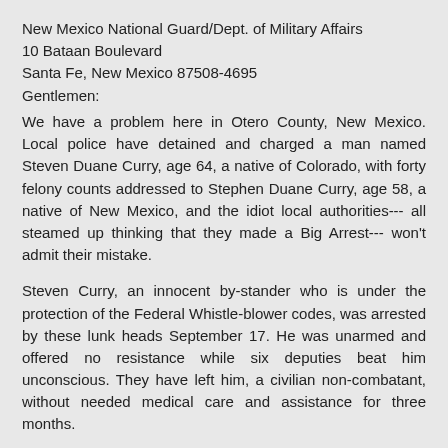New Mexico National Guard/Dept. of Military Affairs
10 Bataan Boulevard
Santa Fe, New Mexico 87508-4695
Gentlemen:
We have a problem here in Otero County, New Mexico. Local police have detained and charged a man named Steven Duane Curry, age 64, a native of Colorado, with forty felony counts addressed to Stephen Duane Curry, age 58, a native of New Mexico, and the idiot local authorities--- all steamed up thinking that they made a Big Arrest--- won't admit their mistake.
Steven Curry, an innocent by-stander who is under the protection of the Federal Whistle-blower codes, was arrested by these lunk heads September 17. He was unarmed and offered no resistance while six deputies beat him unconscious. They have left him, a civilian non-combatant, without needed medical care and assistance for three months.
Steven Curry corrected his political status records in 2014, retiring from any obligation as a "federal citizen" and returned to his birthright status. Your office, General Nava, is responsible for